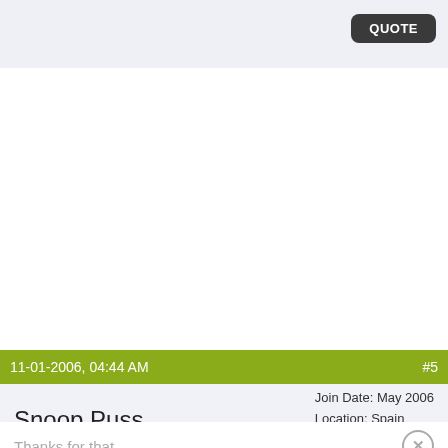QUOTE
11-01-2006, 04:44 AM    #5
Snoop Puss
Join Date: May 2006
Location: Spain
Posts: 1,167
Thanks for that.